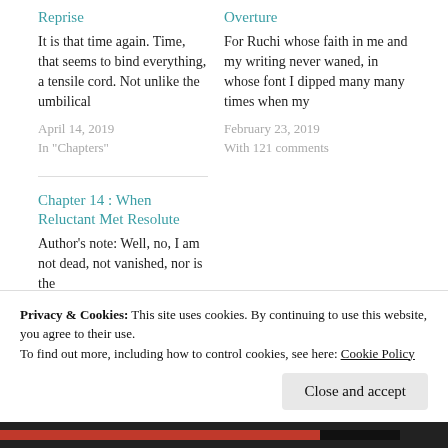Reprise
It is that time again. Time, that seems to bind everything, a tensile cord. Not unlike the umbilical
April 14, 2019
In "Chapters"
Overture
For Ruchi whose faith in me and my writing never waned, in whose font I dipped many many times when my
February 23, 2019
With 121 comments
Chapter 14 : When Reluctant Met Resolute
Author's note: Well, no, I am not dead, not vanished, nor is the
Privacy & Cookies: This site uses cookies. By continuing to use this website, you agree to their use.
To find out more, including how to control cookies, see here: Cookie Policy
Close and accept